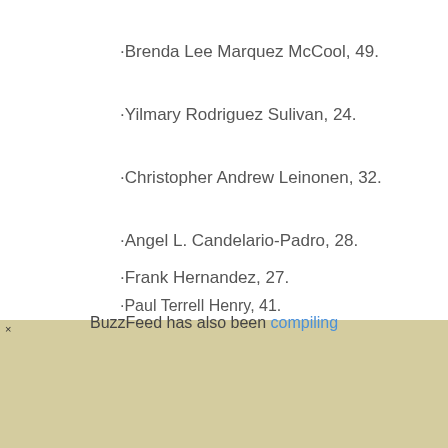·Brenda Lee Marquez McCool, 49.
·Yilmary Rodriguez Sulivan, 24.
·Christopher Andrew Leinonen, 32.
·Angel L. Candelario-Padro, 28.
·Frank Hernandez, 27.
·Paul Terrell Henry, 41.
BuzzFeed has also been compiling